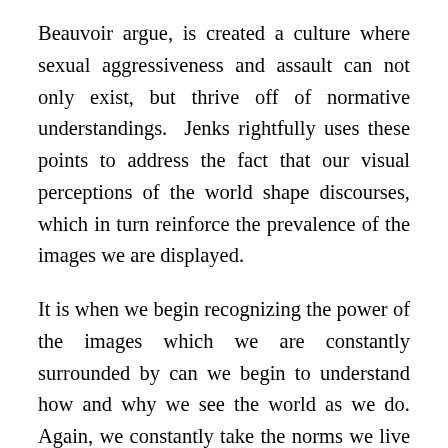Beauvoir argue, is created a culture where sexual aggressiveness and assault can not only exist, but thrive off of normative understandings.  Jenks rightfully uses these points to address the fact that our visual perceptions of the world shape discourses, which in turn reinforce the prevalence of the images we are displayed.
It is when we begin recognizing the power of the images which we are constantly surrounded by can we begin to understand how and why we see the world as we do. Again, we constantly take the norms we live in, the discourses which surround them, and the images from and by which they are manifest and reinforced, for granted, acknowledging them as part of our daily environment and routine but failing to see the manner